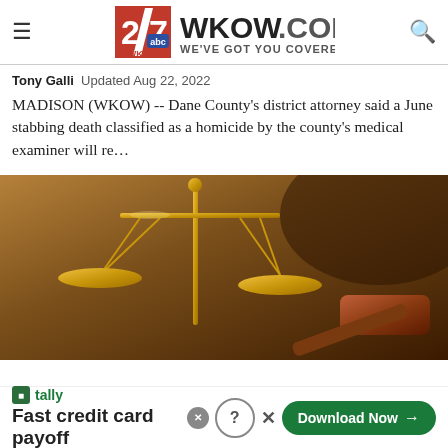27 WKOW.COM WE'VE GOT YOU COVERED
Tony Galli  Updated Aug 22, 2022
MADISON (WKOW) -- Dane County's district attorney said a June stabbing death classified as a homicide by the county's medical examiner will re…
[Figure (photo): Close-up photo of golden scales of justice and a wooden gavel on a dark background with warm brown tones.]
tally  Fast credit card payoff  Download Now